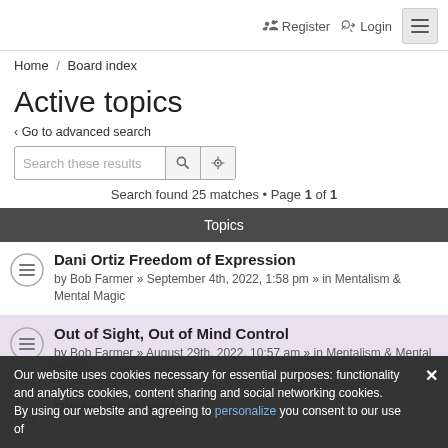Register   Login
Home / Board index
Active topics
< Go to advanced search
Search these results
Search found 25 matches • Page 1 of 1
Topics
Dani Ortiz Freedom of Expression
by Bob Farmer » September 4th, 2022, 1:58 pm » in Mentalism & Mental Magic
Out of Sight, Out of Mind Control
by Bob Farmer » August 29th, 2022, 10:57 am » in Mentalism & Mental Magic
Ritchman at work!
Our website uses cookies necessary for essential purposes: functionality and analytics cookies, content sharing and social networking cookies. By using our website and agreeing to [personalize] you consent to our use of